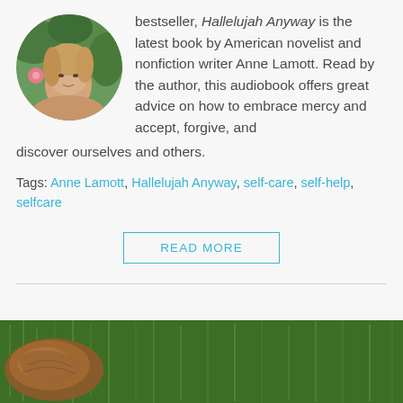[Figure (photo): Circular portrait photo of Anne Lamott, a middle-aged woman with light brown hair, outdoors with green foliage and a pink flower visible in the background.]
bestseller, Hallelujah Anyway is the latest book by American novelist and nonfiction writer Anne Lamott. Read by the author, this audiobook offers great advice on how to embrace mercy and accept, forgive, and discover ourselves and others.
Tags: Anne Lamott, Hallelujah Anyway, self-care, self-help, selfcare
READ MORE
[Figure (photo): Partial image at bottom of page showing green grass/turf with what appears to be a brown leather baseball glove or sports equipment on the left side.]